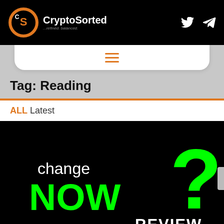CryptoSorted — ...refined. balanced.
Tag: Reading
ALL Latest
[Figure (screenshot): Dark promotional image with white text 'change', large green text 'NOW', a large green question mark, and white bold text 'REVIEW' at the bottom right.]